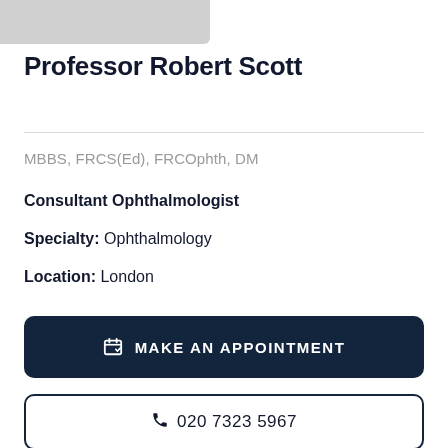[Figure (photo): Partial photo of Professor Robert Scott in suit at top of page]
Professor Robert Scott
MBBS, FRCS(Ed), FRCOphth, DM
Consultant Ophthalmologist
Specialty: Ophthalmology
Location: London
MAKE AN APPOINTMENT
020 7323 5967